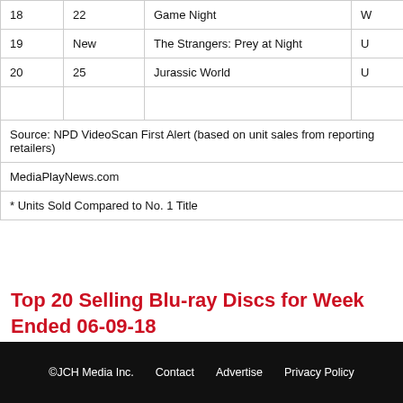| Rank | Prev | Title |  |
| --- | --- | --- | --- |
| 18 | 22 | Game Night | W |
| 19 | New | The Strangers: Prey at Night | U |
| 20 | 25 | Jurassic World | U |
|  |  |  |  |
| Source: NPD VideoScan First Alert (based on unit sales from reporting retailers) |  |  |  |
| MediaPlayNews.com |  |  |  |
| * Units Sold Compared to No. 1 Title |  |  |  |
Top 20 Selling Blu-ray Discs for Week Ended 06-09-18
©JCH Media Inc.   Contact   Advertise   Privacy Policy